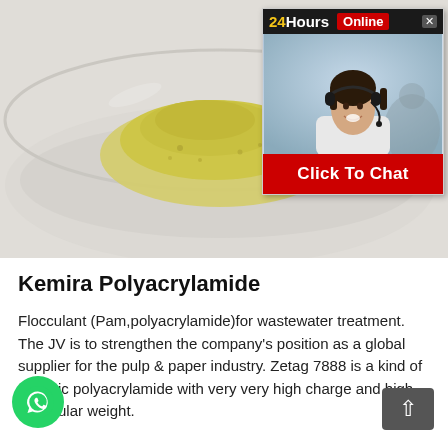[Figure (photo): A glass petri dish containing a pile of yellow-green powder (polyacrylamide flocculant) on a white background, with an overlaid chat widget showing a customer service agent wearing a headset, labeled '24Hours Online' with a 'Click To Chat' button]
Kemira Polyacrylamide
Flocculant (Pam,polyacrylamide)for wastewater treatment. The JV is to strengthen the company's position as a global supplier for the pulp & paper industry. Zetag 7888 is a kind of cationic polyacrylamide with very very high charge and high molecular weight.